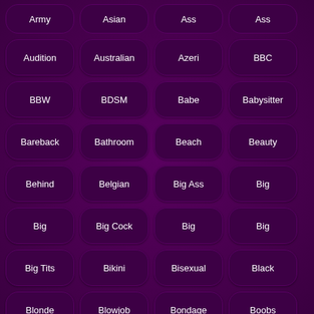Army
Asian
Ass
Ass
Audition
Australian
Azeri
BBC
BBW
BDSM
Babe
Babysitter
Bareback
Bathroom
Beach
Beauty
Behind
Belgian
Big Ass
Big
Big
Big Cock
Big
Big
Big Tits
Bikini
Bisexual
Black
Blonde
Blowjob
Bondage
Boobs
Boyfriend
Brazilian
Bride
British
Brunette
Brutal
Bukkake
Busty
CFNM
Car
Cartoon
Casting